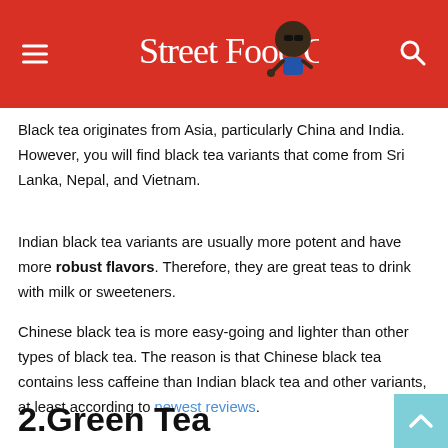Street Food Guy (logo/navigation bar)
Black tea originates from Asia, particularly China and India. However, you will find black tea variants that come from Sri Lanka, Nepal, and Vietnam.
Indian black tea variants are usually more potent and have more robust flavors. Therefore, they are great teas to drink with milk or sweeteners.
Chinese black tea is more easy-going and lighter than other types of black tea. The reason is that Chinese black tea contains less caffeine than Indian black tea and other variants, at least according to newest reviews.
2.Green Tea